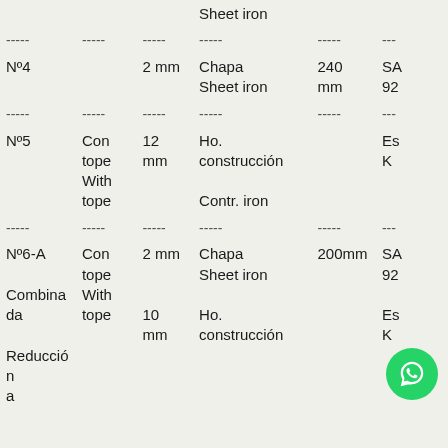|  |  |  | Sheet iron |  |  |
| --- | --- | --- | --- | --- | --- |
| ----- | ----- | ----- | ----- | ----- | --- |
| Nº4 |  | 2 mm | Chapa
Sheet iron | 240 mm | SA
92 |
| ----- | ----- | ----- | ----- | ----- | --- |
| Nº5 | Con tope
With tope | 12 mm | Ho. construcción
Contr. iron |  | Es
K |
| ----- | ----- | ----- | ----- | ----- | --- |
| Nº6-A
Combinada
Reducción a | Con tope
With tope | 2 mm

10 mm | Chapa
Sheet iron
Ho. construcción
Contr. | 200mm | SA
92

Es
K |